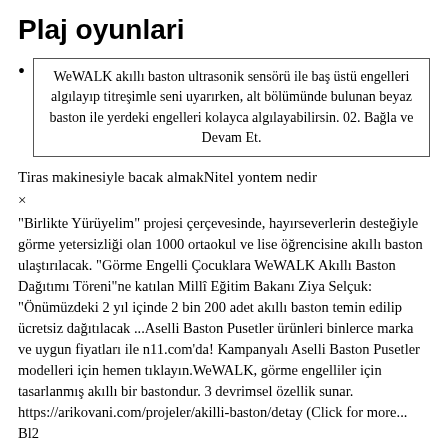Plaj oyunlari
WeWALK akıllı baston ultrasonik sensörü ile baş üstü engelleri algılayıp titreşimle seni uyarırken, alt bölümünde bulunan beyaz baston ile yerdeki engelleri kolayca algılayabilirsin. 02. Bağla ve Devam Et.
Tiras makinesiyle bacak almakNitel yontem nedir
×
"Birlikte Yürüyelim" projesi çerçevesinde, hayırseverlerin desteğiyle görme yetersizliği olan 1000 ortaokul ve lise öğrencisine akıllı baston ulaştırılacak. "Görme Engelli Çocuklara WeWALK Akıllı Baston Dağıtımı Töreni"ne katılan Millî Eğitim Bakanı Ziya Selçuk: "Önümüzdeki 2 yıl içinde 2 bin 200 adet akıllı baston temin edilip ücretsiz dağıtılacak ...Aselli Baston Pusetler ürünleri binlerce marka ve uygun fiyatları ile n11.com'da! Kampanyalı Aselli Baston Pusetler modelleri için hemen tıklayın.WeWALK, görme engelliler için tasarlanmış akıllı bir bastondur. 3 devrimsel özellik sunar. https://arikovani.com/projeler/akilli-baston/detay (Click for more... Bl2